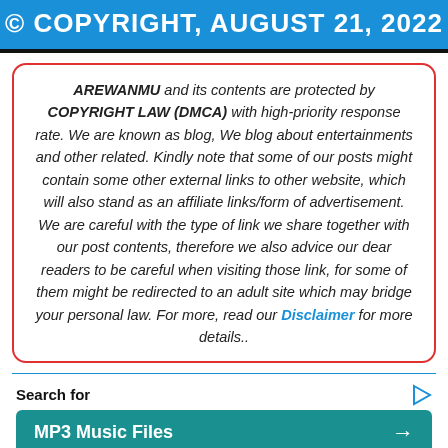© COPYRIGHT, AUGUST 21, 2022
AREWANMU and its contents are protected by COPYRIGHT LAW (DMCA) with high-priority response rate. We are known as blog, We blog about entertainments and other related. Kindly note that some of our posts might contain some other external links to other website, which will also stand as an affiliate links/form of advertisement. We are careful with the type of link we share together with our post contents, therefore we also advice our dear readers to be careful when visiting those link, for some of them might be redirected to an adult site which may bridge your personal law. For more, read our Disclaimer for more details..
Search for
MP3 Music Files →
Free MP3 Music Download →
Yahoo! Search | Sponsored